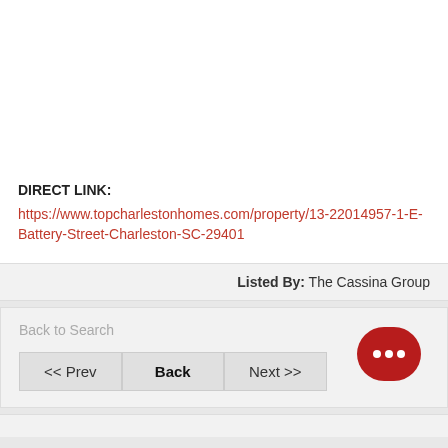DIRECT LINK:
https://www.topcharlestonhomes.com/property/13-22014957-1-E-Battery-Street-Charleston-SC-29401
Listed By: The Cassina Group
Back to Search
<< Prev
Back
Next >>